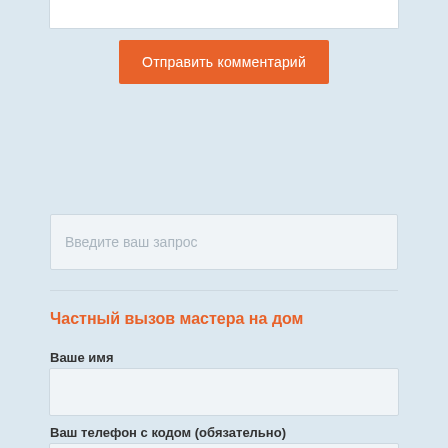[Figure (screenshot): Top portion of a comment/textarea input box, partially visible at top of page]
Отправить комментарий
[Figure (screenshot): Search input field with placeholder text 'Введите ваш запрос']
Частный вызов мастера на дом
Ваше имя
[Figure (screenshot): Empty text input field for name]
Ваш телефон с кодом (обязательно)
[Figure (screenshot): Empty text input field for phone number]